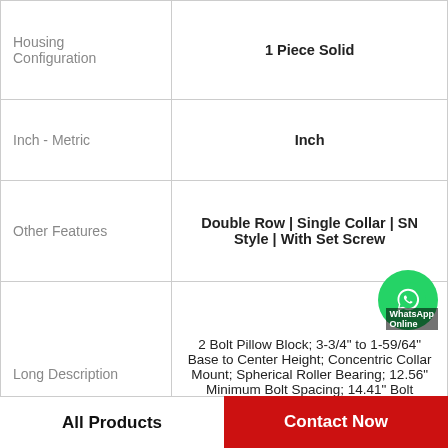| Attribute | Value |
| --- | --- |
| Housing Configuration | 1 Piece Solid |
| Inch - Metric | Inch |
| Other Features | Double Row | Single Collar | SN Style | With Set Screw |
| Long Description | 2 Bolt Pillow Block; 3-3/4" to 1-59/64" Base to Center Height; Concentric Collar Mount; Spherical Roller Bearing; 12.56" Minimum Bolt Spacing; 14.41" Bolt Spacing Maximum; Relub |
| UNSPSC | 31171511 |
| Harmonized Tariff | 8483.20.40.80 |
All Products | Contact Now